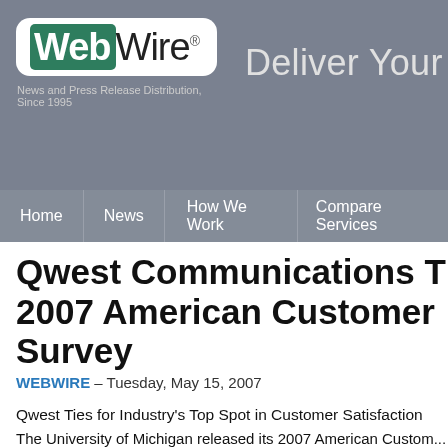WebWire® – News and Press Release Distribution, Since 1995 | Deliver Your N...
Home | News | How We Work | Compare Services
Qwest Communications To... 2007 American Customer ... Survey
WEBWIRE – Tuesday, May 15, 2007
Qwest Ties for Industry's Top Spot in Customer Satisfaction
The University of Michigan released its 2007 American Custom... line telephone companies today, showing that Qwest Communi... for first in the industry for overall customer satisfaction.